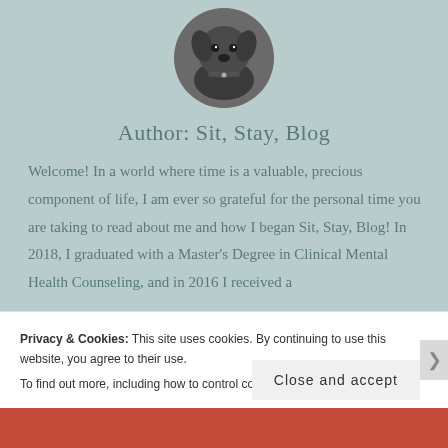[Figure (photo): Circular profile photo of a dark-colored Labrador dog looking at the camera, black and white / desaturated tones]
Author: Sit, Stay, Blog
Welcome! In a world where time is a valuable, precious component of life, I am ever so grateful for the personal time you are taking to read about me and how I began Sit, Stay, Blog! In 2018, I graduated with a Master's Degree in Clinical Mental Health Counseling, and in 2016 I received a
Privacy & Cookies: This site uses cookies. By continuing to use this website, you agree to their use.
To find out more, including how to control cookies, see here: Cookie Policy
Close and accept